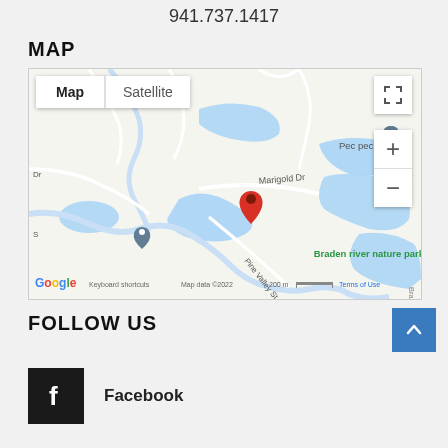941.737.1417
MAP
[Figure (map): Google Map showing location near Marigold Dr with red pin marker, blue water bodies, roads, labels for Pec pec electric, Braden river nature park, Pine Valley St. Map/Satellite toggle buttons and zoom controls visible. Map data ©2022, 200m scale bar, Terms of Use, Keyboard shortcuts, Google logo.]
FOLLOW US
Facebook